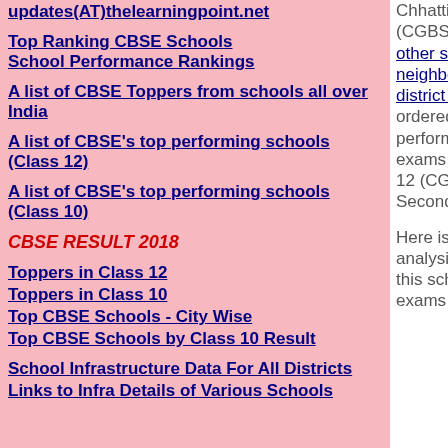updates(AT)thelearningpoint.net
Top Ranking CBSE Schools School Performance Rankings
A list of CBSE Toppers from schools all over India
A list of CBSE's top performing schools (Class 12)
A list of CBSE's top performing schools (Class 10)
CBSE RESULT 2018
Toppers in Class 12
Toppers in Class 10
Top CBSE Schools - City Wise
Top CBSE Schools by Class 10 Result
School Infrastructure Data For All Districts
Links to Infra Details of Various Schools
Chhattisgarh State board (CGBSE). Here's a listing other schools in the neighborhood and the district of MUNGELI, ordered by their academic performance in the board exams of Chhattisgarh Class 12 (CGBSE-Inter/Higher Secondary), March 2016.
Here is a performance analysis of students from this school, in the board exams